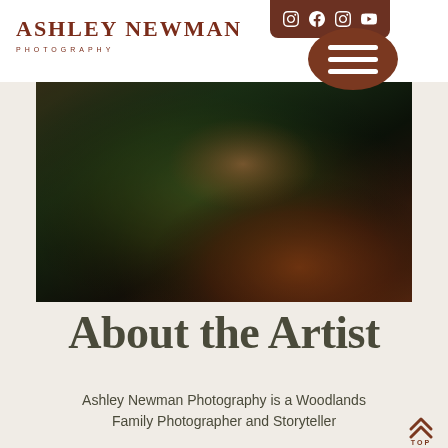ASHLEY NEWMAN PHOTOGRAPHY
[Figure (photo): Photographer Ashley Newman sitting outdoors holding a camera, wearing a teal/green lace top and dark pants with brown leather boots, photographed in a natural outdoor setting with warm autumn tones]
About the Artist
Ashley Newman Photography is a Woodlands Family Photographer and Storyteller